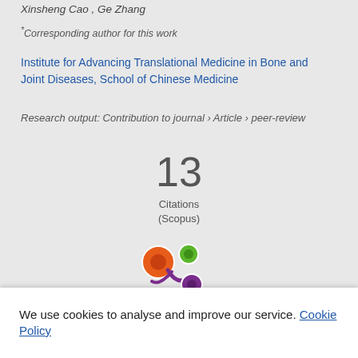Xinsheng Cao, Ge Zhang
* Corresponding author for this work
Institute for Advancing Translational Medicine in Bone and Joint Diseases, School of Chinese Medicine
Research output: Contribution to journal › Article › peer-review
13
Citations
(Scopus)
[Figure (logo): Altmetric logo with colored circles (orange, green, purple) forming a stylized figure]
We use cookies to analyse and improve our service. Cookie Policy